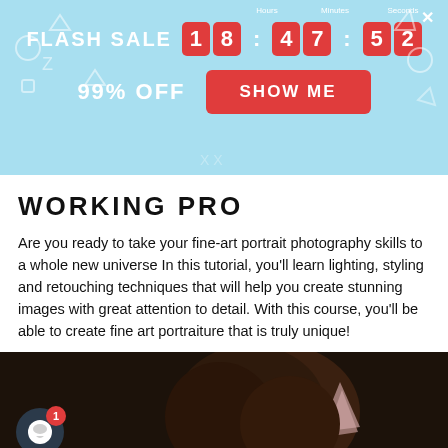[Figure (screenshot): Flash sale banner with countdown timer showing 18:47:52, 99% OFF text, and a red SHOW ME button on light blue background with decorative geometric shapes]
WORKING PRO
Are you ready to take your fine-art portrait photography skills to a whole new universe In this tutorial, you'll learn lighting, styling and retouching techniques that will help you create stunning images with great attention to detail. With this course, you'll be able to create fine art portraiture that is truly unique!
[Figure (photo): Dark background photo showing a person with curly hair and pointed elf-like ear accessory, with a chat notification bubble in the lower left corner showing badge number 1]